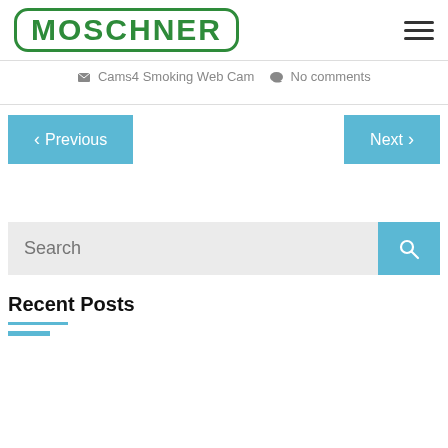MOSCHNER
Cams4 Smoking Web Cam   No comments
< Previous   Next >
Search
Recent Posts